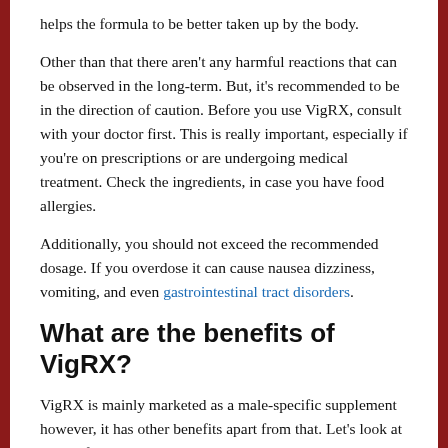helps the formula to be better taken up by the body.
Other than that there aren't any harmful reactions that can be observed in the long-term. But, it's recommended to be in the direction of caution. Before you use VigRX, consult with your doctor first. This is really important, especially if you're on prescriptions or are undergoing medical treatment. Check the ingredients, in case you have food allergies.
Additionally, you should not exceed the recommended dosage. If you overdose it can cause nausea dizziness, vomiting, and even gastrointestinal tract disorders.
What are the benefits of VigRX?
VigRX is mainly marketed as a male-specific supplement however, it has other benefits apart from that. Let's look at some of the advantages.